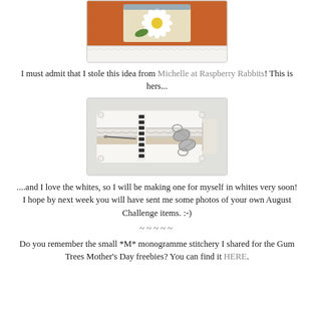[Figure (photo): Top cropped photo showing orange felt/fabric and a floral embroidered patch with white daisy and lace trim]
I must admit that I stole this idea from Michelle at Raspberry Rabbits! This is hers...
[Figure (photo): Photo of a white sewing/needlework pillow with lace trim, a needle on the left and scissors on the right, with decorative ribbon details]
....and I love the whites, so I will be making one for myself in whites very soon!
I hope by next week you will have sent me some photos of your own August Challenge items. :-)
~~~~~
Do you remember the small *M* monogramme stitchery I shared for the Gum Trees Mother's Day freebies? You can find it HERE.